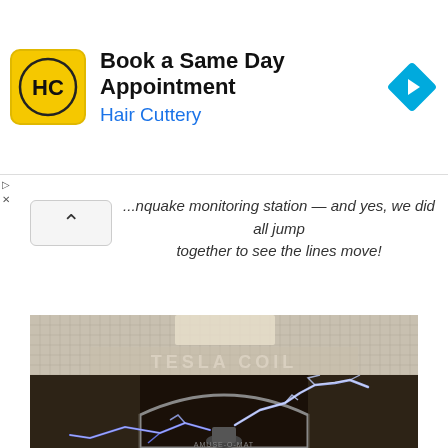[Figure (other): Hair Cuttery advertisement banner with yellow logo showing HC initials, headline 'Book a Same Day Appointment', subtext 'Hair Cuttery', and a blue navigation arrow icon]
...nquake monitoring station — and yes, we did all jump together to see the lines move!
[Figure (photo): Photo of a Tesla Coil exhibit with bright blue-white electrical lightning arcs/sparks shooting outward from a central coil, set against a grid background inside a dark enclosure with an arch. 'TESLA COIL' text visible at the top of the exhibit.]